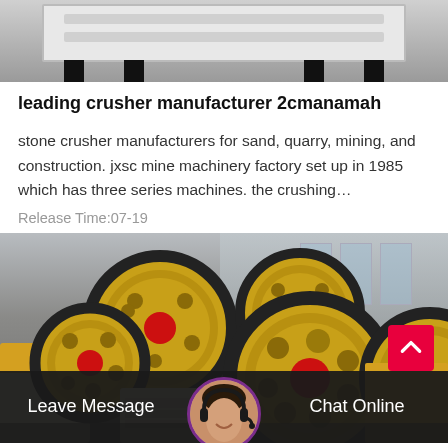[Figure (photo): Top portion of an industrial crusher machine, white/gray metal frame with black legs, partial view from above]
leading crusher manufacturer 2cmanamah
stone crusher manufacturers for sand, quarry, mining, and construction. jxsc mine machinery factory set up in 1985 which has three series machines. the crushing…
Release Time:07-19
[Figure (photo): Large industrial crusher flywheel components in a factory setting. Multiple large yellow/gold and red circular wheels (flywheels) with black rubber rims are displayed on the factory floor. The background shows a gray industrial building interior.]
Leave Message   Chat Online